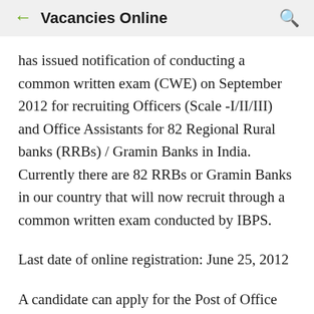Vacancies Online
has issued notification of conducting a common written exam (CWE) on September 2012 for recruiting Officers (Scale -I/II/III) and Office Assistants for 82 Regional Rural banks (RRBs) / Gramin Banks in India. Currently there are 82 RRBs or Gramin Banks in our country that will now recruit through a common written exam conducted by IBPS.
Last date of online registration: June 25, 2012
A candidate can apply for the Post of Office